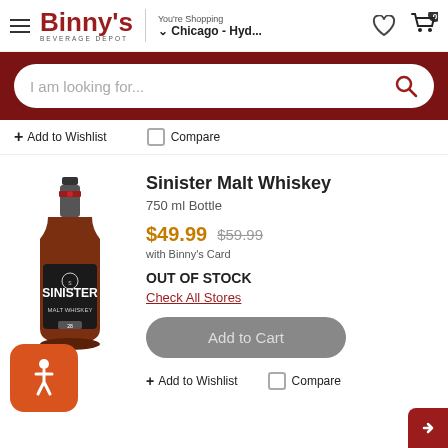Binny's Beverage Depot — You're Shopping Chicago - Hyd...
I am looking for...
+ Add to Wishlist   Compare
Sinister Malt Whiskey
750 ml Bottle
$49.99  $59.99 with Binny's Card
OUT OF STOCK
Check All Stores
Add to Cart
+ Add to Wishlist   Compare